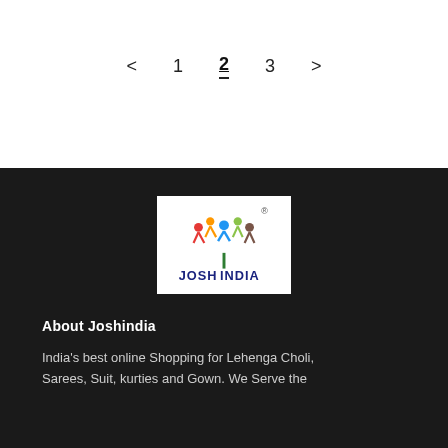< 1 2 3 >
[Figure (logo): Joshindia logo with colourful human-figure tree and bold text JOSH INDIA with registered trademark symbol]
About Joshindia
India's best online Shopping for Lehenga Choli, Sarees, Suit, kurties and Gown. We Serve the